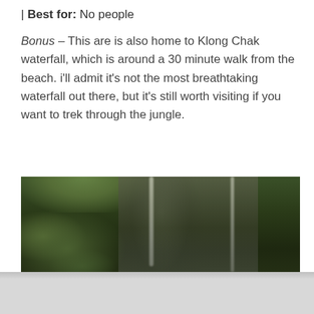| Best for: No people
Bonus – This are is also home to Klong Chak waterfall, which is around a 30 minute walk from the beach. i'll admit it's not the most breathtaking waterfall out there, but it's still worth visiting if you want to trek through the jungle.
[Figure (photo): Photograph of Klong Chak waterfall surrounded by dense jungle vegetation including palm fronds on the left, with two waterfall streams visible descending a dark rocky cliff face.]